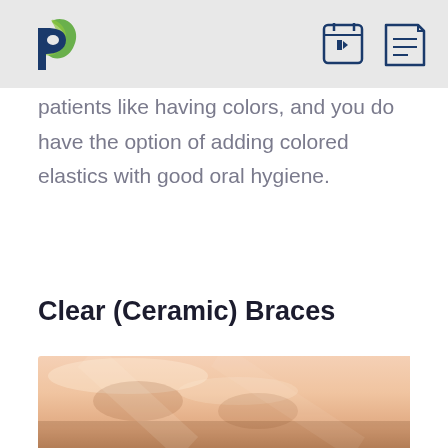[Logo and navigation icons]
patients like having colors, and you do have the option of adding colored elastics with good oral hygiene.
Clear (Ceramic) Braces
[Figure (photo): Close-up photo of a person's face/cheek area, used to illustrate Clear (Ceramic) Braces section]